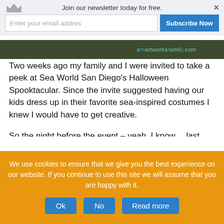Join our newsletter today for free. | Enter your email addres | Subscribe Now
[Figure (photo): A dark outdoor scene with partial watermark text 'smartworksfamily.com']
Two weeks ago my family and I were invited to take a peek at Sea World San Diego's Halloween Spooktacular. Since the invite suggested having our kids dress up in their favorite sea-inspired costumes I knew I would have to get creative.
So the night before the event – yeah, I know… last minute – we headed out in search of supplies for a cool sea costume for my son and daughter. After snagging an Ariel costume at another store for my daughter we headed over to Dollar Tree to see if anything caught our eye.
While the…
We use cookies to ensure that we give you the best experience on our website. If you continue to use this site we will assume that you are happy with it.